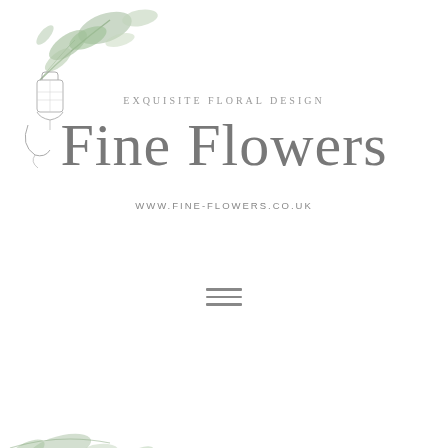[Figure (illustration): Watercolour botanical illustration in the top-left corner featuring green eucalyptus leaves and a delicate lantern/hanging ornament in grey pencil sketch style]
EXQUISITE FLORAL DESIGN
Fine Flowers
WWW.FINE-FLOWERS.CO.UK
[Figure (other): Hamburger menu icon — three horizontal lines stacked]
[Figure (illustration): Partial watercolour botanical illustration at the bottom edge of the page with green leaves, mirroring the top-left corner decoration]